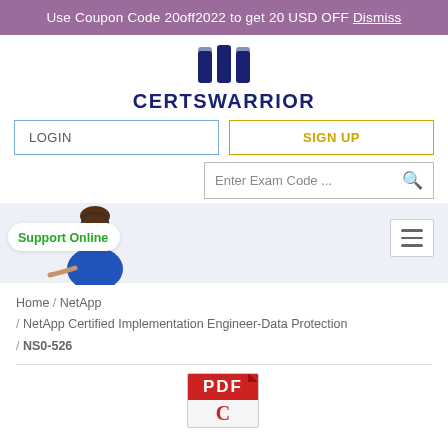Use Coupon Code 20off2022 to get 20 USD OFF Dismiss
[Figure (logo): CertsWarrior logo with dark blue emblem and bold text]
LOGIN
SIGN UP
Enter Exam Code ...
[Figure (photo): Support Online banner with woman wearing headset]
Home /  NetApp /  NetApp Certified Implementation Engineer-Data Protection /  NS0-526
[Figure (illustration): PDF file icon with red PDF label and C letter below]